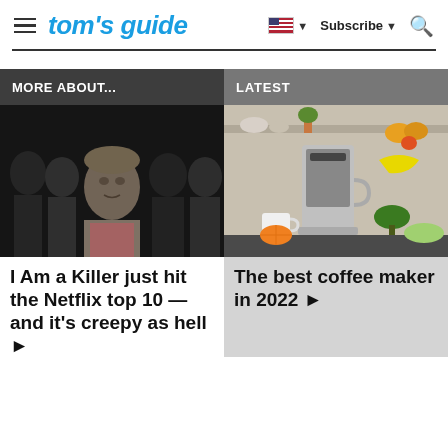tom's guide — Subscribe — Search
MORE ABOUT...
LATEST
[Figure (photo): Group photo showing a woman in foreground with several men behind her, dark background — still from 'I Am a Killer' Netflix documentary]
I Am a Killer just hit the Netflix top 10 — and it's creepy as hell ▶
[Figure (photo): Coffee maker on a kitchen counter with fruits and vegetables nearby]
The best coffee maker in 2022 ▶